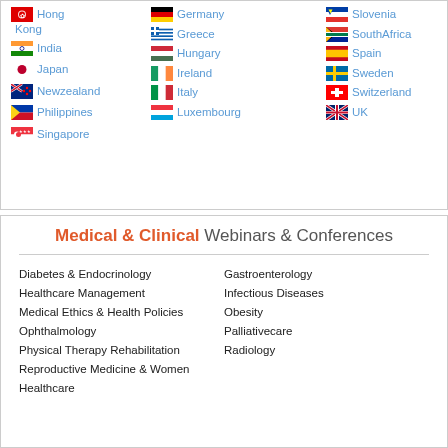Hong Kong, Germany, Slovenia, India, Greece, SouthAfrica, Japan, Hungary, Spain, New Zealand, Ireland, Sweden, Philippines, Italy, Switzerland, Singapore, Luxembourg, UK
Medical & Clinical Webinars & Conferences
Diabetes & Endocrinology
Gastroenterology
Healthcare Management
Infectious Diseases
Medical Ethics & Health Policies
Obesity
Ophthalmology
Palliativecare
Physical Therapy Rehabilitation
Radiology
Reproductive Medicine & Women Healthcare